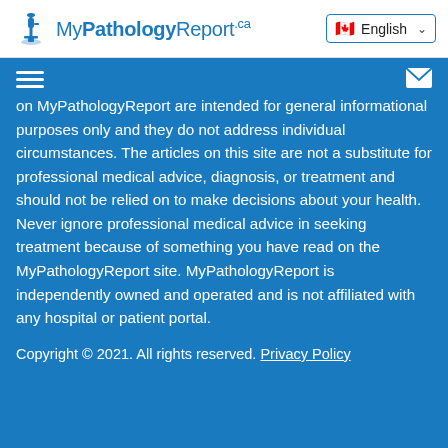MyPathologyReport.ca — English
on MyPathologyReport are intended for general informational purposes only and they do not address individual circumstances. The articles on this site are not a substitute for professional medical advice, diagnosis, or treatment and should not be relied on to make decisions about your health. Never ignore professional medical advice in seeking treatment because of something you have read on the MyPathologyReport site. MyPathologyReport is independently owned and operated and is not affiliated with any hospital or patient portal.
Copyright © 2021. All rights reserved. Privacy Policy